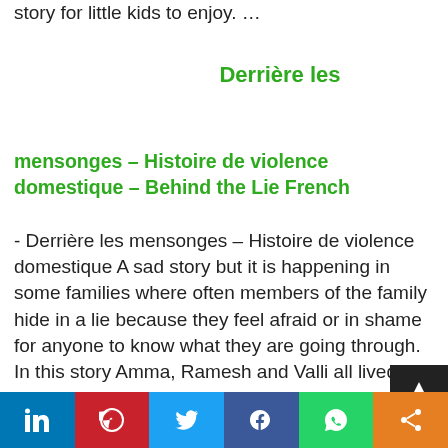story for little kids to enjoy. ...
Derrière les
mensonges – Histoire de violence domestique – Behind the Lie French
- Derrière les mensonges – Histoire de violence domestique A sad story but it is happening in some families where often members of the family hide in a lie because they feel afraid or in shame for anyone to know what they are going through. In this story Amma, Ramesh and Valli all lived in terror …
Qui fait ce bruit ?
LinkedIn Pinterest Twitter Facebook WhatsApp Share